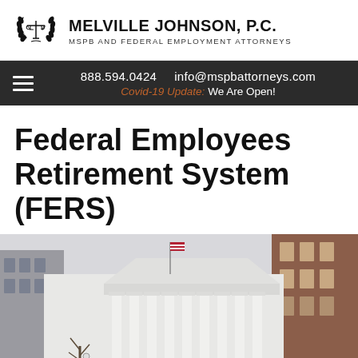MELVILLE JOHNSON, P.C. | MSPB AND FEDERAL EMPLOYMENT ATTORNEYS
888.594.0424   info@mspbattorneys.com   Covid-19 Update: We Are Open!
Federal Employees Retirement System (FERS)
[Figure (photo): Photograph of a neoclassical government building with white columns and a Greek Revival facade, with a US flag visible and surrounding urban buildings in the background.]